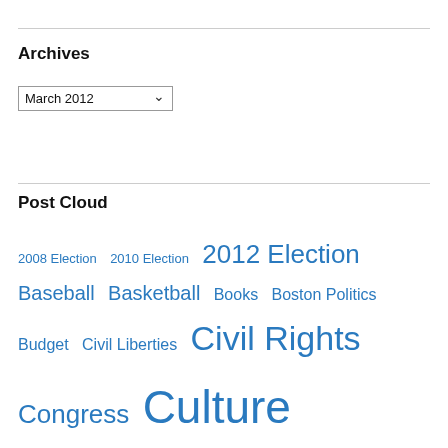Archives
March 2012
Post Cloud
2008 Election  2010 Election  2012 Election  Baseball  Basketball  Books  Boston Politics  Budget  Civil Liberties  Civil Rights  Congress  Culture  Economics  Economy  Fiction  Gay Marriage  Health Care Reform  History  Human Rights  Humor  Mysteries  Obama Administration  Politics  Public Policy  Red Sox  Science  Sports  Supreme Court  Uncategorized  Women's Rights